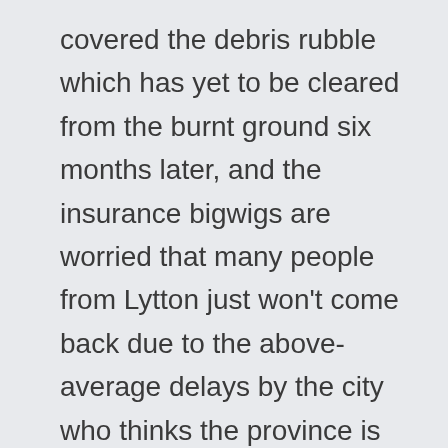covered the debris rubble which has yet to be cleared from the burnt ground six months later, and the insurance bigwigs are worried that many people from Lytton just won't come back due to the above-average delays by the city who thinks the province is supposed to be leading the rebuild, and vice versa. Once agains, cracks between the levels of governments are used to let things slip on by. So if